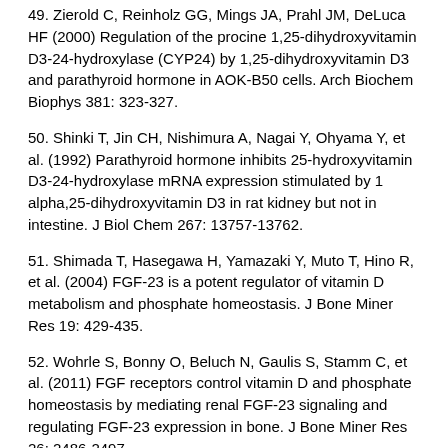49. Zierold C, Reinholz GG, Mings JA, Prahl JM, DeLuca HF (2000) Regulation of the procine 1,25-dihydroxyvitamin D3-24-hydroxylase (CYP24) by 1,25-dihydroxyvitamin D3 and parathyroid hormone in AOK-B50 cells. Arch Biochem Biophys 381: 323-327.
50. Shinki T, Jin CH, Nishimura A, Nagai Y, Ohyama Y, et al. (1992) Parathyroid hormone inhibits 25-hydroxyvitamin D3-24-hydroxylase mRNA expression stimulated by 1 alpha,25-dihydroxyvitamin D3 in rat kidney but not in intestine. J Biol Chem 267: 13757-13762.
51. Shimada T, Hasegawa H, Yamazaki Y, Muto T, Hino R, et al. (2004) FGF-23 is a potent regulator of vitamin D metabolism and phosphate homeostasis. J Bone Miner Res 19: 429-435.
52. Wohrle S, Bonny O, Beluch N, Gaulis S, Stamm C, et al. (2011) FGF receptors control vitamin D and phosphate homeostasis by mediating renal FGF-23 signaling and regulating FGF-23 expression in bone. J Bone Miner Res 26: 2486-2497.
53. Perwad F, Zhang MY, Tenenhouse HS, Portale AA